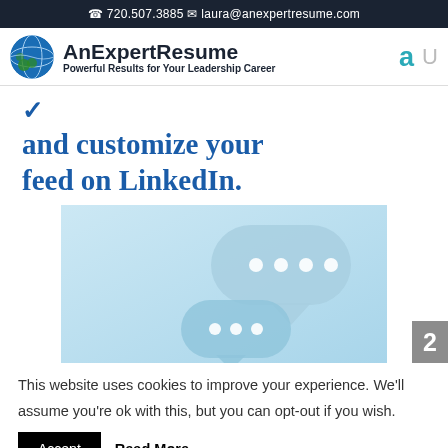☎ 720.507.3885  ✉ laura@anexpertresume.com
[Figure (logo): AnExpertResume logo with globe icon and tagline 'Powerful Results for Your Leadership Career']
and customize your feed on LinkedIn.
[Figure (photo): Two blue speech bubble icons with dots on a light blue background]
This website uses cookies to improve your experience. We'll assume you're ok with this, but you can opt-out if you wish.
Accept  Read More
[Figure (logo): TrustedSite badge with green checkmark]